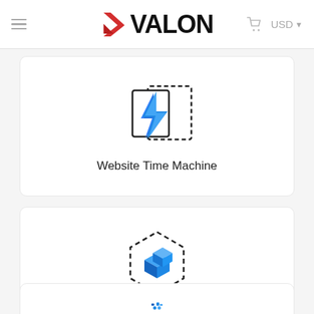AVALON  USD
[Figure (illustration): Lightning bolt icon (blue) overlapping two overlapping page/document outlines with dashed border outline]
Website Time Machine
[Figure (illustration): Blue 3D block/plugin icon inside a dashed hexagon border outline]
WordPress Plugin Updates
[Figure (illustration): Partial view of another icon at the bottom of page (cut off)]